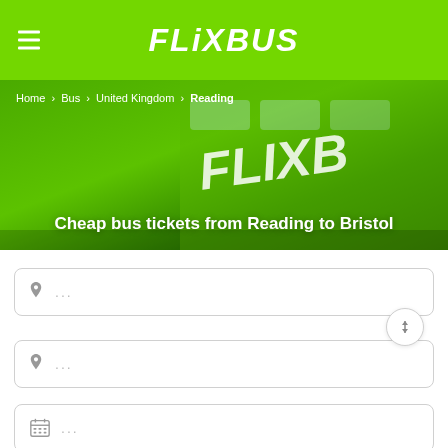FLIXBUS
Home > Bus > United Kingdom > Reading
Cheap bus tickets from Reading to Bristol
... (origin input field)
... (destination input field)
... (date input field)
... (additional input field)